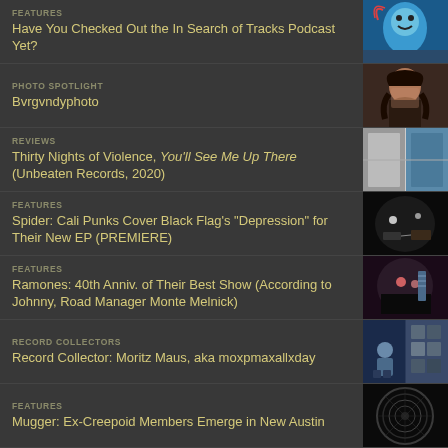Have You Checked Out the In Search of Tracks Podcast Yet?
Bvrgvndyphoto
Thirty Nights of Violence, You'll See Me Up There (Unbeaten Records, 2020)
Spider: Cali Punks Cover Black Flag's "Depression" for Their New EP (PREMIERE)
Ramones: 40th Anniv. of Their Best Show (According to Johnny, Road Manager Monte Melnick)
Record Collector: Moritz Maus, aka moxpmaxallxday
Mugger: Ex-Creepoid Members Emerge in New Austin